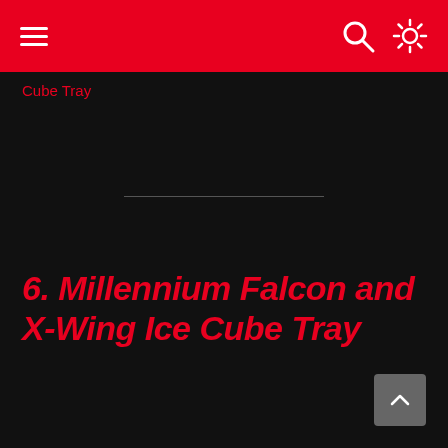navigation bar with hamburger menu, search icon, brightness icon
Cube Tray
6. Millennium Falcon and X-Wing Ice Cube Tray